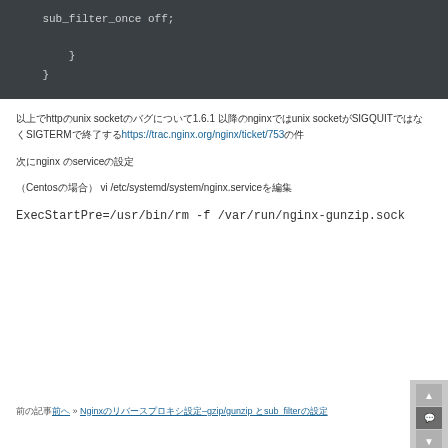[Figure (screenshot): Dark-themed code block showing closing braces: '    }' and '}' on separate lines with indentation, on a dark gray background (#3a3f44).]
以上でhttpのunix socketのバグについて1.6.1 以降のnginxではunix socketがSIGQUITではなくSIGTERMで終了するhttps://trac.nginx.org/nginx/ticket/753の件
次にnginx のserviceの設定
（Centosの場合） vi /etc/systemd/system/nginx.serviceを編集
ExecStartPre=/usr/bin/rm -f /var/run/nginx-gunzip.sock
前の記事「前へ」 » Nginxのリバースプロキシ設定–gzip/gunzip とsub_filterの設定